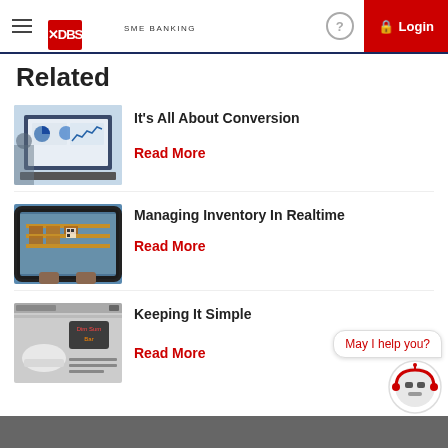DBS SME BANKING — Login
Related
[Figure (screenshot): Thumbnail image of a laptop with charts and graphs displayed on screen, person working in background]
It's All About Conversion
Read More
[Figure (photo): Tablet showing warehouse with boxes on shelving, held by hands]
Managing Inventory In Realtime
Read More
[Figure (screenshot): Screenshot showing a business-related article or presentation slide]
Keeping It Simple
Read More
[Figure (illustration): Chatbot speech bubble saying 'May I help you?' with robot icon below]